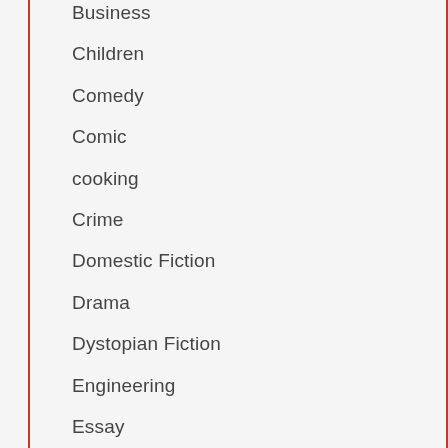Business
Children
Comedy
Comic
cooking
Crime
Domestic Fiction
Drama
Dystopian Fiction
Engineering
Essay